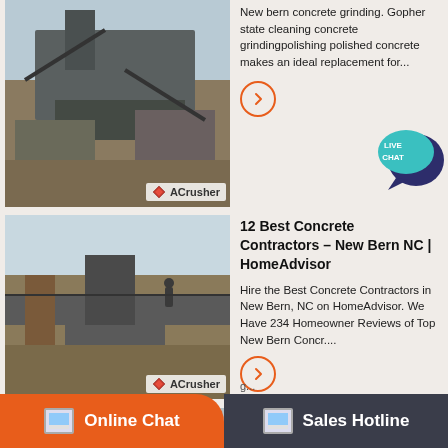[Figure (photo): Industrial stone crusher machinery at a quarry site, ACrusher brand logo visible]
New bern concrete grinding. Gopher state cleaning concrete grindingpolishing polished concrete makes an ideal replacement for...
[Figure (illustration): Live Chat speech bubble icon in teal/dark blue]
[Figure (photo): Aerial view of industrial crusher equipment and conveyor belts, ACrusher brand]
12 Best Concrete Contractors – New Bern NC | HomeAdvisor
Hire the Best Concrete Contractors in New Bern, NC on HomeAdvisor. We Have 234 Homeowner Reviews of Top New Bern Concr...
[Figure (photo): Large yellow industrial concrete surface prep machine, ACrusher brand]
Concrete Surface Prep Wilmington | Concrete Polishing ...
concrete restoration & engraving specializes in concrete surface prep, concrete grinding, shot blasting, glue removal and vct removal servic...
Online Chat   Sales Hotline